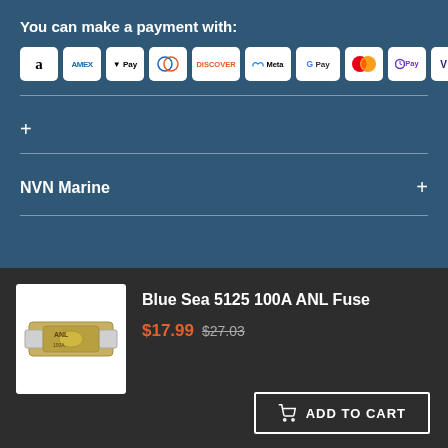You can make a payment with:
[Figure (infographic): Row of payment method icons: Amazon, AMEX, Apple Pay, Diners Club, Discover, Meta Pay, Google Pay, Mastercard, Samsung Pay (OPay), Visa]
+
NVN Marine +
[Figure (photo): Blue Sea 5125 100A ANL Fuse product image on white background]
Blue Sea 5125 100A ANL Fuse
$17.99 $27.03
ADD TO CART